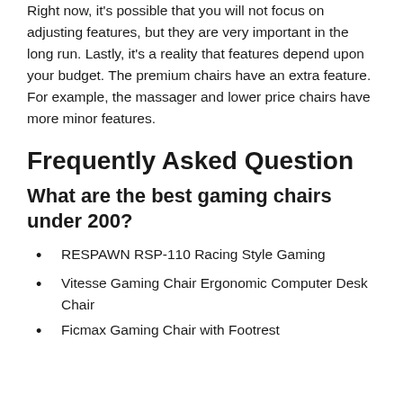Right now, it's possible that you will not focus on adjusting features, but they are very important in the long run. Lastly, it's a reality that features depend upon your budget. The premium chairs have an extra feature. For example, the massager and lower price chairs have more minor features.
Frequently Asked Question
What are the best gaming chairs under 200?
RESPAWN RSP-110 Racing Style Gaming
Vitesse Gaming Chair Ergonomic Computer Desk Chair
Ficmax Gaming Chair with Footrest